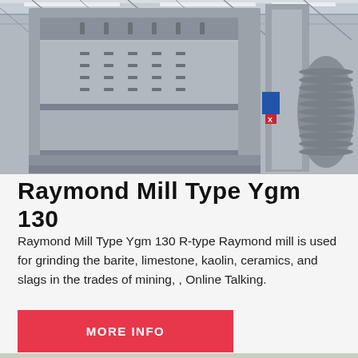[Figure (photo): Industrial Raymond mill machine photographed from below inside a factory/warehouse setting. Large grey metal structure with a pulley wheel visible on the right side.]
Raymond Mill Type Ygm 130
Raymond Mill Type Ygm 130 R-type Raymond mill is used for grinding the barite, limestone, kaolin, ceramics, and slags in the trades of mining, , Online Talking.
MORE INFO
[Figure (photo): Partial view of an outdoor quarry or mining site with rocky terrain and gravel/stone piles.]